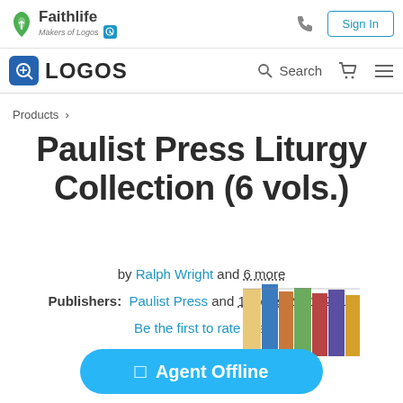Faithlife — Makers of Logos [Sign In]
LOGOS [Search]
Products >
Paulist Press Liturgy Collection (6 vols.)
by Ralph Wright and 6 more
Publishers: Paulist Press and 1 more, 2001–2012
Be the first to rate this.
[Figure (photo): Book spines of the Paulist Press Liturgy Collection]
Agent Offline